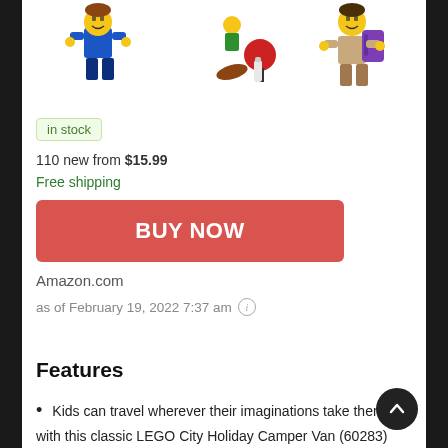[Figure (photo): LEGO City Holiday Camper Van minifigures shown from top — blue figure on left, camping accessories in center, tan figure with purple backpack on right]
in stock
110 new from $15.99
Free shipping
BUY NOW
Amazon.com
as of February 19, 2022 7:37 am ℹ
Features
Kids can travel wherever their imaginations take them with this classic LEGO City Holiday Camper Van (60283) playset, packed with